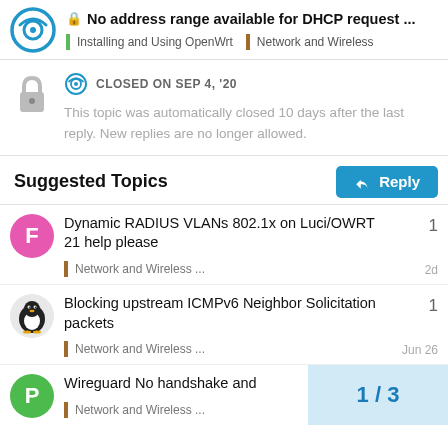No address range available for DHCP request ... | Installing and Using OpenWrt | Network and Wireless
CLOSED ON SEP 4, '20
This topic was automatically closed 10 days after the last reply. New replies are no longer allowed.
Suggested Topics
Dynamic RADIUS VLANs 802.1x on Luci/OWRT 21 help please — Network and Wireless ... — 1 — 2d
Blocking upstream ICMPv6 Neighbor Solicitation packets — Network and Wireless ... — 1 — Jun 26
Wireguard No handshake and... — Network and Wireless ... — 1 / 3